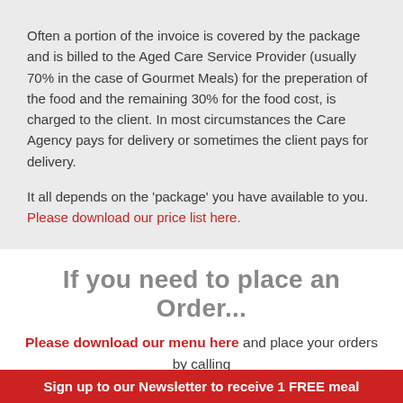Often a portion of the invoice is covered by the package and is billed to the Aged Care Service Provider (usually 70% in the case of Gourmet Meals) for the preperation of the food and the remaining 30% for the food cost, is charged to the client. In most circumstances the Care Agency pays for delivery or sometimes the client pays for delivery.
It all depends on the 'package' you have available to you. Please download our price list here.
If you need to place an Order...
Please download our menu here and place your orders by calling 1300 112 112
Sign up to our Newsletter to receive 1 FREE meal